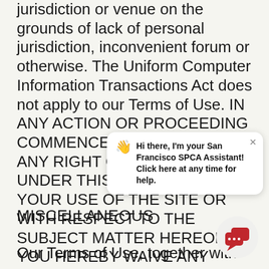jurisdiction or venue on the grounds of lack of personal jurisdiction, inconvenient forum or otherwise. The Uniform Computer Information Transactions Act does not apply to our Terms of Use. IN ANY ACTION OR PROCEEDING COMMENCED TO ENFORCE ANY RIGHT OR OBLIGATION UNDER THIS AGREEMENT, YOUR USE OF THE SITE OR WITH RESPECT TO THE SUBJECT MATTER HEREOF, YOU HEREBY WAIVE ANY RIGHT YOU MAY NOW HAVE OR HEREAFTER ACQUIRE TO A TRIAL BY JURY.
MISCELLANEOUS
Our Terms of Use, together with
[Figure (other): Chat assistant popup widget with waving hand emoji. Text reads: Hi there, I'm your San Francisco SPCA Assistant! Click here at any time for help.]
[Figure (other): Red chat bubble icon button in circular white/grey background, positioned bottom right corner of page.]